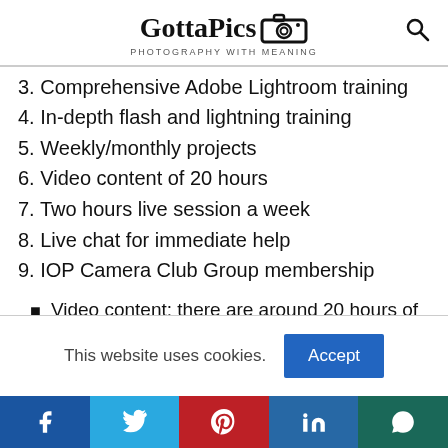GottaPics - PHOTOGRAPHY WITH MEANING
3. Comprehensive Adobe Lightroom training
4. In-depth flash and lightning training
5. Weekly/monthly projects
6. Video content of 20 hours
7. Two hours live session a week
8. Live chat for immediate help
9. IOP Camera Club Group membership
Video content: there are around 20 hours of
This website uses cookies. [Accept]
Social share bar: Facebook, Twitter, Pinterest, LinkedIn, WhatsApp